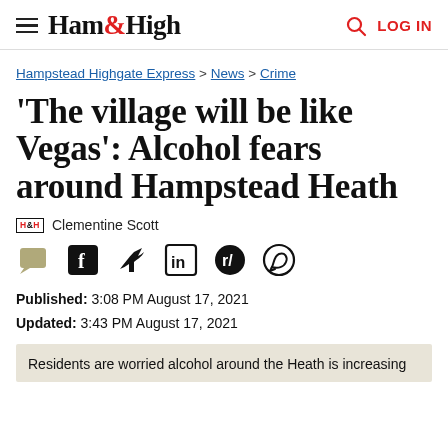Ham&High | LOG IN
Hampstead Highgate Express > News > Crime
'The village will be like Vegas': Alcohol fears around Hampstead Heath
H&H  Clementine Scott
[Figure (infographic): Social share icons: comment, Facebook, Twitter, LinkedIn, Reddit, WhatsApp]
Published: 3:08 PM August 17, 2021
Updated: 3:43 PM August 17, 2021
Residents are worried alcohol around the Heath is increasing